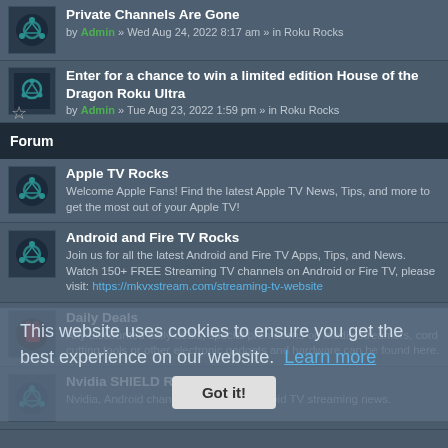Private Channels Are Gone — by Admin » Wed Aug 24, 2022 8:17 am » in Roku Rocks
Enter for a chance to win a limited edition House of the Dragon Roku Ultra — by Admin » Tue Aug 23, 2022 1:59 pm » in Roku Rocks
Forum
Apple TV Rocks — Welcome Apple Fans! Find the latest Apple TV News, Tips, and more to get the most out of your Apple TV!
Android and Fire TV Rocks — Join us for all the latest Android and Fire TV Apps, Tips, and News. Watch 150+ FREE Streaming TV channels on Android or Fire TV, please visit: https://mkvxstream.com/streaming-tv-website
Daily Deals — Any discounted daily deals, special promotions on media streamers, cord cutting tools or other electronic gadgets and hardware can be found here.
Nvidia SHIELD Rocks — Nvidia, Android channels and other Android TV streaming news.
This website uses cookies to ensure you get the best experience on our website. Learn more — Got it!